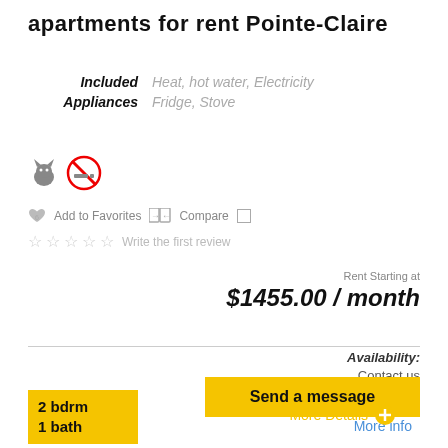apartments for rent Pointe-Claire
Included: Heat, hot water, Electricity
Appliances: Fridge, Stove
[Figure (illustration): Cat icon and no-smoking icon]
Add to Favorites   Compare   Write the first review
Rent Starting at $1455.00 / month
Availability: Contact us
Send a message
More info
2 bdrm 1 bath
More Details